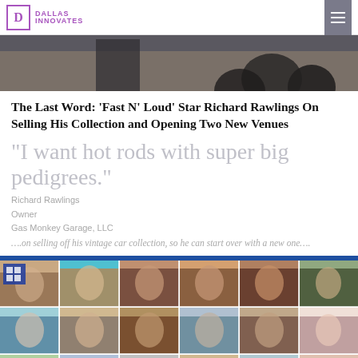Dallas Innovates
[Figure (photo): Hero photo strip showing vintage/muscle car wheels and a person]
The Last Word: ‘Fast N’ Loud’ Star Richard Rawlings On Selling His Collection and Opening Two New Venues
“I want hot rods with super big pedigrees.”
Richard Rawlings
Owner
Gas Monkey Garage, LLC
….on selling off his vintage car collection, so he can start over with a new one….
[Figure (photo): Grid of professional headshot photos of multiple people, arranged in 3 rows of 6 columns]